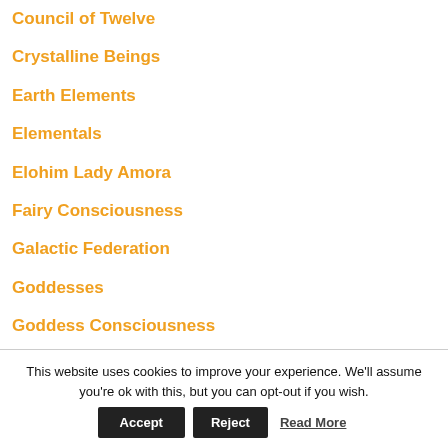Council of Twelve
Crystalline Beings
Earth Elements
Elementals
Elohim Lady Amora
Fairy Consciousness
Galactic Federation
Goddesses
Goddess Consciousness
Goddess Diana
Goddess Grace
This website uses cookies to improve your experience. We'll assume you're ok with this, but you can opt-out if you wish. Accept Reject Read More